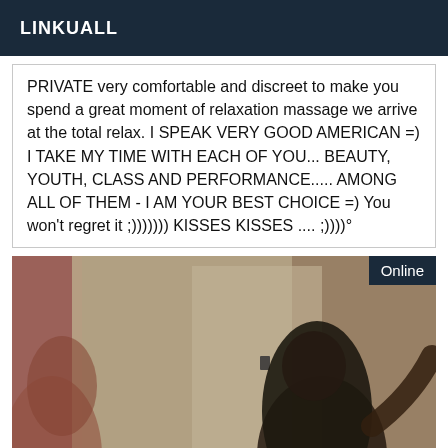LINKUALL
PRIVATE very comfortable and discreet to make you spend a great moment of relaxation massage we arrive at the total relax. I SPEAK VERY GOOD AMERICAN =) I TAKE MY TIME WITH EACH OF YOU... BEAUTY, YOUTH, CLASS AND PERFORMANCE..... AMONG ALL OF THEM - I AM YOUR BEST CHOICE =) You won't regret it ;))))))) KISSES KISSES .... ;))))°
[Figure (photo): A blurred indoor photo showing the back of a woman with long dark hair in a room or hallway. An 'Online' badge is overlaid in the top-right corner.]